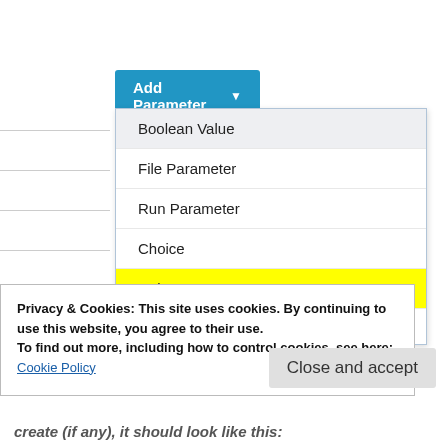[Figure (screenshot): A dropdown menu UI screenshot showing an 'Add Parameter' button (blue) with options: Boolean Value (highlighted grey), File Parameter, Run Parameter, Choice, String Parameter (highlighted yellow), and partially visible Password Parameter. A cookie consent banner overlays the bottom portion.]
Privacy & Cookies: This site uses cookies. By continuing to use this website, you agree to their use.
To find out more, including how to control cookies, see here:
Cookie Policy
Close and accept
create (if any), it should look like this: